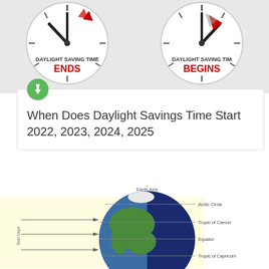[Figure (illustration): Two clock illustrations side by side: left clock labeled 'DAYLIGHT SAVING TIME ENDS' with hands showing time going back, right clock labeled 'DAYLIGHT SAVING TIME BEGINS' with hands showing time going forward. Both clocks have red accent arrows on clock hands.]
[Figure (infographic): Card with green pin icon at top-left containing title text: 'When Does Daylight Savings Time Start 2022, 2023, 2024, 2025']
When Does Daylight Savings Time Start 2022, 2023, 2024, 2025
[Figure (illustration): Scientific diagram of Earth showing sun rays hitting the globe, with labeled lines for Earth Axis, Arctic Circle, Tropic of Cancer, Equator, and Tropic of Capricorn. Left side is yellow (sunlit), right side dark. 'Sun rays' label on left with arrows pointing right toward the globe.]